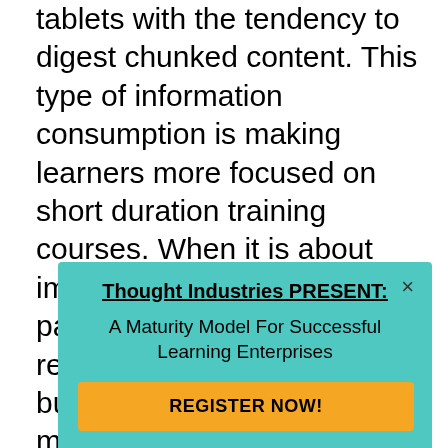tablets with the tendency to digest chunked content. This type of information consumption is making learners more focused on short duration training courses. When it is about improving learner participation, knowledge retention, and overall business productivity, microlearning is the answer. The technological advancement is breaking down geographical boundaries by providing instant access to bite-sized content nuggets at the moment of need. Undoubtedly, microlearning is shifting from merely a trend to an essential training approach for most of the organizations. It accommodates the lives of the corporate workforce by enabling them to d... c...
[Figure (other): Popup overlay with teal background. Title: 'Thought Industries PRESENT:' (bold, underlined). Subtitle: 'A Maturity Model For Successful Learning Enterprises'. Orange button: 'REGISTER NOW!'. Close button (×) in top-right corner.]